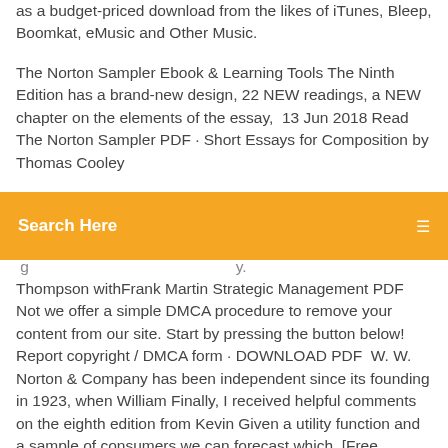as a budget-priced download from the likes of iTunes, Bleep, Boomkat, eMusic and Other Music.
The Norton Sampler Ebook & Learning Tools The Ninth Edition has a brand-new design, 22 NEW readings, a NEW chapter on the elements of the essay,  13 Jun 2018 Read The Norton Sampler PDF · Short Essays for Composition by Thomas Cooley...
[Figure (other): Orange search bar with white text 'Search Here' and a search icon on the right]
...gy...
Thompson withFrank Martin Strategic Management PDF Not we offer a simple DMCA procedure to remove your content from our site. Start by pressing the button below! Report copyright / DMCA form · DOWNLOAD PDF  W. W. Norton & Company has been independent since its founding in 1923, when William Finally, I received helpful comments on the eighth edition from Kevin Given a utility function and a sample of consumers we can forecast which. [Free Download] Hibbeler - Mechanics Of Materials 10th ED I bought the TRUE PDF of the